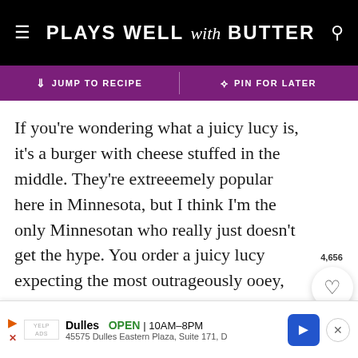PLAYS WELL with BUTTER
↓ JUMP TO RECIPE | ℗ PIN FOR LATER
If you're wondering what a juicy lucy is, it's a burger with cheese stuffed in the middle. They're extreeemely popular here in Minnesota, but I think I'm the only Minnesotan who really just doesn't get the hype. You order a juicy lucy expecting the most outrageously ooey, gooey cheeseburger you've ever had in your life, with perfectly melty cheese oozing into every single bite. Sounds amazing, right?
[Figure (screenshot): Advertisement banner for Dulles store: OPEN 10AM–8PM, 45575 Dulles Eastern Plaza, Suite 171, D]